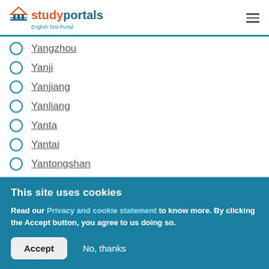studyportals English Test Portal
Yangzhou
Yanji
Yanjiang
Yanliang
Yanta
Yantai
Yantongshan
This site uses cookies
Read our Privacy and cookie statement to know more. By clicking the Accept button, you agree to us doing so.
Accept  No, thanks